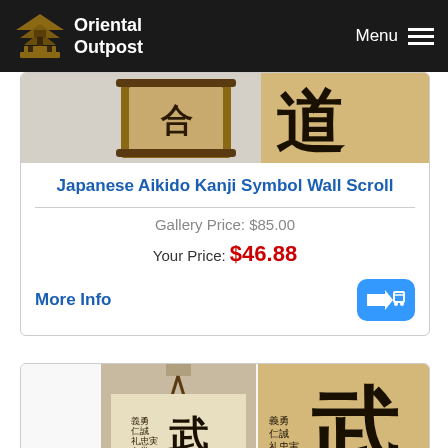Oriental Outpost  Menu
[Figure (photo): Partial view of Japanese Aikido Kanji Symbol Wall Scroll product image]
Japanese Aikido Kanji Symbol Wall Scroll
Gallery Price: $85.00
Your Price: $46.88
More Info
[Figure (photo): Wall scroll with Japanese/Chinese Bushido calligraphy characters, shown both as full scroll and close-up detail]